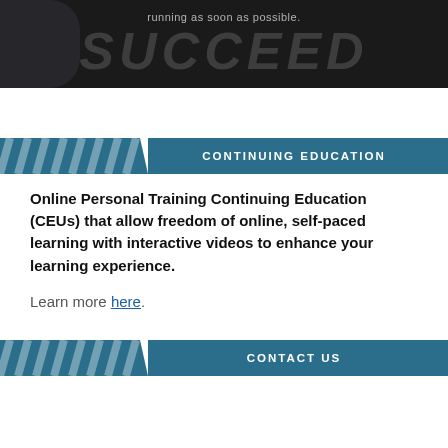[Figure (illustration): Dark banner image with text 'running as soon as possible.' above large italic bold text 'SUCCEED' in dark gray on black background]
CONTINUING EDUCATION
Online Personal Training Continuing Education (CEUs) that allow freedom of online, self-paced learning with interactive videos to enhance your learning experience.
Learn more here.
CONTACT US